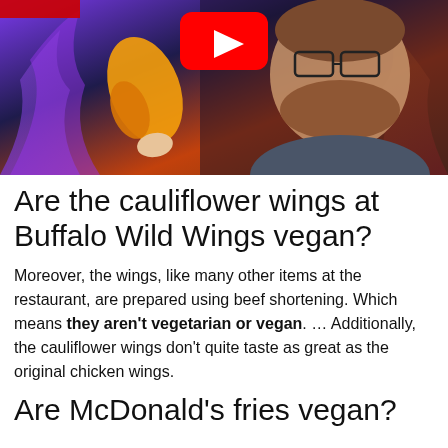[Figure (screenshot): YouTube video thumbnail showing a man with glasses and a beard holding a buffalo chicken wing, with a YouTube play button visible. Background has purple and orange flame-like colors.]
Are the cauliflower wings at Buffalo Wild Wings vegan?
Moreover, the wings, like many other items at the restaurant, are prepared using beef shortening. Which means they aren't vegetarian or vegan. … Additionally, the cauliflower wings don't quite taste as great as the original chicken wings.
Are McDonald's fries vegan?